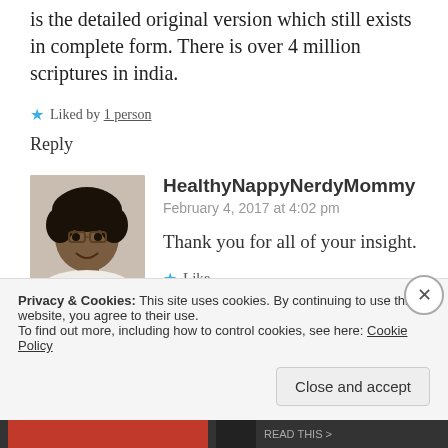is the detailed original version which still exists in complete form. There is over 4 million scriptures in india.
★ Liked by 1 person
Reply
[Figure (photo): Profile photo of HealthyNappyNerdyMommy - a woman with natural hair and glasses, smiling]
HealthyNappyNerdyMommy
February 4, 2017 at 4:02 pm
Thank you for all of your insight.
★ Like
Privacy & Cookies: This site uses cookies. By continuing to use this website, you agree to their use.
To find out more, including how to control cookies, see here: Cookie Policy
Close and accept